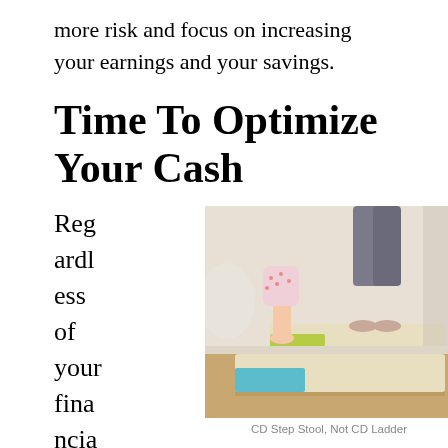more risk and focus on increasing your earnings and your savings.
Time To Optimize Your Cash
Regardless of your financial situation, everybody should take steps right now to
[Figure (photo): Two children standing on a two-step wooden step stool with colorful green and teal accent panels, on a wooden floor.]
CD Step Stool, Not CD Ladder